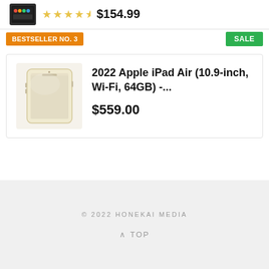[Figure (photo): Small tablet/device product image with dark background showing colorful app icons]
$154.99
BESTSELLER NO. 3
SALE
[Figure (photo): 2022 Apple iPad Air in starlight/gold color shown at an angle]
2022 Apple iPad Air (10.9-inch, Wi-Fi, 64GB) -...
$559.00
© 2022 HONEKAI MEDIA
^ TOP